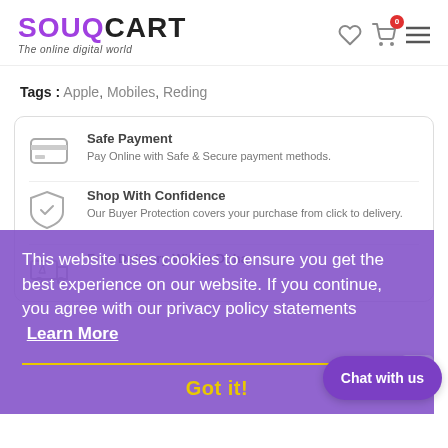SOUQCART - The online digital world
Tags : Apple, Mobiles, Reding
Safe Payment
Pay Online with Safe & Secure payment methods.
This website uses cookies to ensure you get the best experience on our website. If you continue, you agree with our privacy policy statements Learn More
Got it!
Shop With Confidence
Our Buyer Protection covers your purchase from click to delivery.
Free Delivery Within Doha